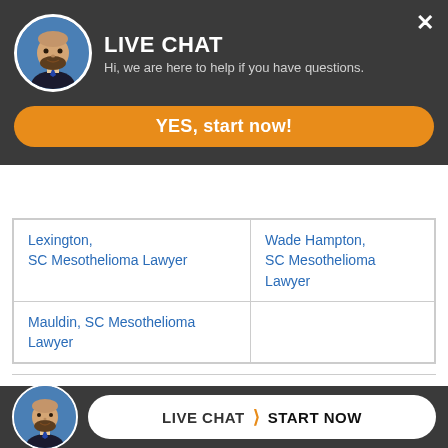[Figure (screenshot): Live chat overlay with avatar photo of bearded man in suit, title LIVE CHAT, subtitle text, and orange YES start now button]
| Lexington, SC Mesothelioma Lawyer | Wade Hampton, SC Mesothelioma Lawyer |
| Mauldin, SC Mesothelioma Lawyer |  |
Military Veterans Occupation List and Asbestos Exposure
Military Veterans Occupation List Asbestos Exposure A-H
Military Veterans Occupation List Asbestos Exposure I-N
Military Veterans Occupation List...
[Figure (screenshot): Bottom live chat bar with avatar photo and LIVE CHAT / START NOW button]